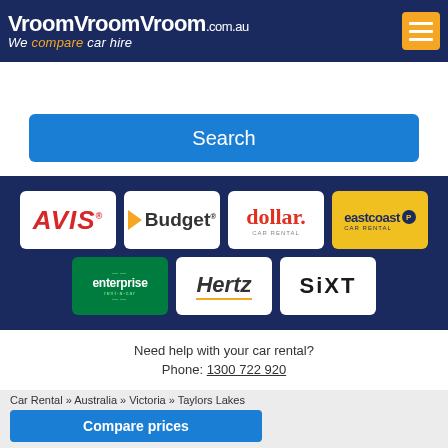[Figure (logo): VroomVroomVroom.com.au logo with tagline 'We compare car hire' on dark navy background, orange hamburger menu icon top right]
[Figure (screenshot): Search button (blue rounded rectangle) labeled 'Search']
[Figure (logo): Grid of car rental brand logos: AVIS, Budget, dollar, eastcoast car rental, enterprise rent-a-car, Hertz, SIXT on dark navy background]
Need help with your car rental?
Phone: 1300 722 920
Car Rental » Australia » Victoria » Taylors Lakes
Compare prices